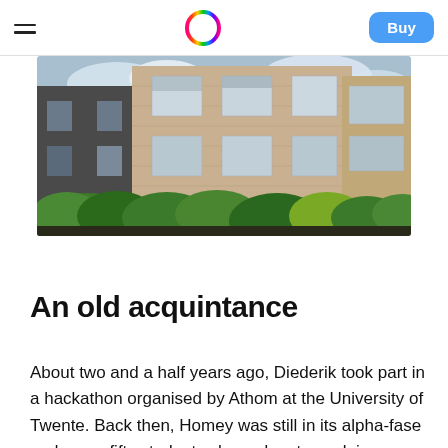Menu | Homey logo | Buy
[Figure (photo): Exterior photo of a Dutch brick residential building with a striped red-and-white awning and green hedges/trees in front, under a partly cloudy sky.]
An old acquintance
About two and a half years ago, Diederik took part in a hackathon organised by Athom at the University of Twente. Back then, Homey was still in its alpha-fase and some fifty students showed up to work in a virtual environment of Homey to develop a Homey App...